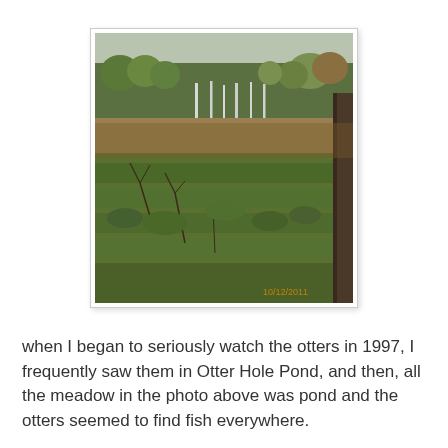[Figure (photo): Outdoor photograph of a meadow with tall grasses and shrubs in the foreground, bare white-trunked trees in the middle distance, and a forest of mixed trees in the background under an overcast sky. A tree trunk is visible on the right edge of the frame. A date stamp reads '10/12/2011' in orange text in the lower right corner.]
when I began to seriously watch the otters in 1997, I frequently saw them in Otter Hole Pond, and then, all the meadow in the photo above was pond and the otters seemed to find fish everywhere.